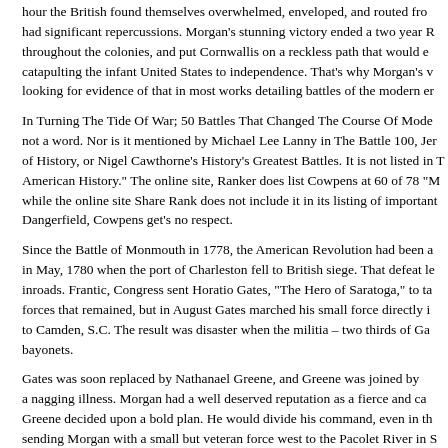hour the British found themselves overwhelmed, enveloped, and routed from the field. The battle had significant repercussions. Morgan's stunning victory ended a two year British winning streak throughout the colonies, and put Cornwallis on a reckless path that would eventually end at Yorktown, catapulting the infant United States to independence. That's why Morgan's victory is so puzzling. Try looking for evidence of that in most works detailing battles of the modern era.
In Turning The Tide Of War; 50 Battles That Changed The Course Of Modern History, Cowpens gets not a word. Nor is it mentioned by Michael Lee Lanny in The Battle 100, Jeremy Black's Great Battles of History, or Nigel Cawthorne's History's Greatest Battles. It is not listed in "100 Battles of American History." The online site, Ranker does list Cowpens at 60 of 78 "Most Important Battles" while the online site Share Rank does not include it in its listing of important battles. Like Rodney Dangerfield, Cowpens get's no respect.
Since the Battle of Monmouth in 1778, the American Revolution had been a series of disasters, worst in May, 1780 when the port of Charleston fell to British siege. That defeat left the British making inroads. Frantic, Congress sent Horatio Gates, "The Hero of Saratoga," to take command of the forces that remained, but in August Gates marched his small force directly into Cornwallis's main force to Camden, S.C. The result was disaster when the militia – two thirds of Gate's force – fled British bayonets.
Gates was soon replaced by Nathanael Greene, and Greene was joined by Daniel Morgan, despite a nagging illness. Morgan had a well deserved reputation as a fierce and capable commander. Greene decided upon a bold plan. He would divide his command, even in the face of the enemy, sending Morgan with a small but veteran force west to the Pacolet River in S